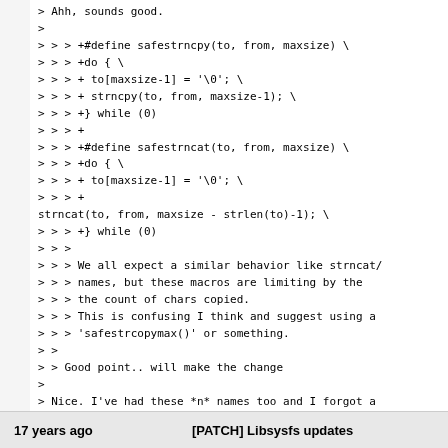> Ahh, sounds good.
>
> > > > +#define safestrncpy(to, from, maxsize) \
> > > > +do { \
> > > > + to[maxsize-1] = '\0'; \
> > > > + strncpy(to, from, maxsize-1); \
> > > > +} while (0)
> > > > +
> > > > +#define safestrncat(to, from, maxsize) \
> > > > +do { \
> > > > + to[maxsize-1] = '\0'; \
> > > > +
strncat(to, from, maxsize - strlen(to)-1); \
> > > > +} while (0)
> > >
> > > We all expect a similar behavior like strncat/
> > > names, but these macros are limiting by the
> > > the count of chars copied.
> > > This is confusing I think and suggest using a
> > > 'safestrcopymax()' or something.
> >
> > Good point.. will make the change
>
> Nice. I've had these *n* names too and I forgot a
> 10 days later I introduced a ugly bug cause I can
> copied chars :)

Inlined is the patch for this... applies on the earlier
17 years ago    [PATCH] Libsysfs updates